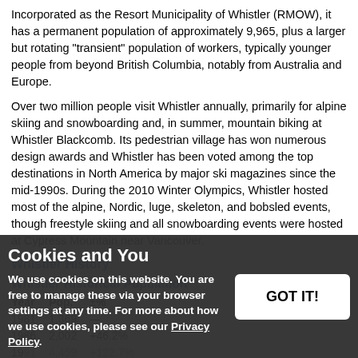Incorporated as the Resort Municipality of Whistler (RMOW), it has a permanent population of approximately 9,965, plus a larger but rotating "transient" population of workers, typically younger people from beyond British Columbia, notably from Australia and Europe.
Over two million people visit Whistler annually, primarily for alpine skiing and snowboarding and, in summer, mountain biking at Whistler Blackcomb. Its pedestrian village has won numerous design awards and Whistler has been voted among the top destinations in North America by major ski magazines since the mid-1990s. During the 2010 Winter Olympics, Whistler hosted most of the alpine, Nordic, luge, skeleton, and bobsled events, though freestyle skiing and all snowboarding events were hosted at Cypress Mountain near Vancouver.
Whistler History
Whistler Historical Population
| Year | Pop. | ±% |
| --- | --- | --- |
| 1981 | 1,369 | — |
| 1986 | 2,002 | +46.2% |
| 1991 | 4,459 | +122.7% |
| 1996 | 7,172 | +60.8% |
| 2001 | 8,896 | +24.0% |
| 2006 | 9,248 | +4.0% |
| 2011 | 9,824 | +6.2% |
The Whistler Valley is located around the pass between the
Cookies and You
We use cookies on this website. You are free to manage these via your browser settings at any time. For more about how we use cookies, please see our Privacy Policy.